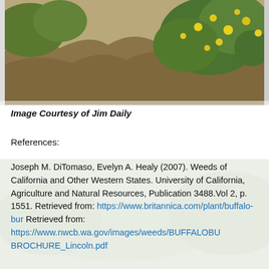[Figure (photo): Photograph of yellow flowering plants growing among rocky/sandy ground, image courtesy of Jim Daily]
Image Courtesy of Jim Daily
References:
Joseph M. DiTomaso, Evelyn A. Healy (2007). Weeds of California and Other Western States. University of California, Agriculture and Natural Resources, Publication 3488.Vol 2, p. 1551. Retrieved from: https://www.britannica.com/plant/buffalo-bur Retrieved from: https://www.nwcb.wa.gov/images/weeds/BUFFALOBU BROCHURE_Lincoln.pdf